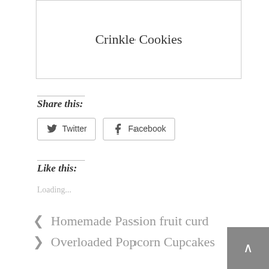Crinkle Cookies
Share this:
[Figure (other): Twitter and Facebook share buttons]
Like this:
Loading...
< Homemade Passion fruit curd
> Overloaded Popcorn Cupcakes